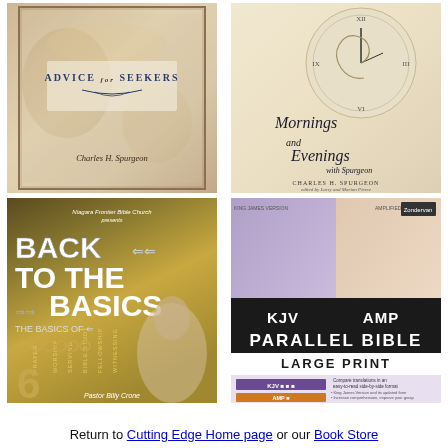[Figure (photo): Book cover: Advice for Seekers by Charles H. Spurgeon — aged, weathered paper texture background]
[Figure (photo): Book cover: Mornings and Evenings with Spurgeon by Charles H. Spurgeon, edited by Larry and Marion Pierce — clock/spiral imagery]
[Figure (photo): Book cover: Back to the Basics — Niagara Frontier Bible Church, Pastor Billy Crone — 6-week series on Prayer, Worship, Bible Study, Serving, Fellowship, Witnessing]
[Figure (photo): Book cover: KJV AMP Parallel Bible Large Print — purple and orange panels]
Return to Cutting Edge Home page or our Book Store